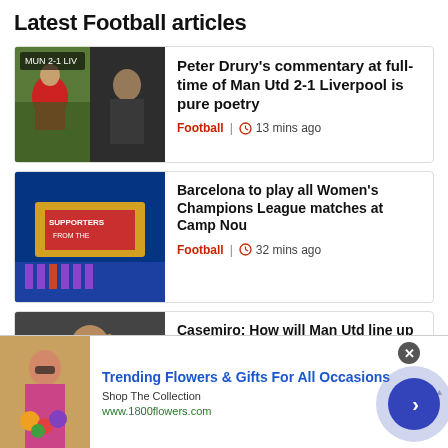Latest Football articles
[Figure (photo): Article thumbnail: football player and manager (Man Utd vs Liverpool)]
Peter Drury's commentary at full-time of Man Utd 2-1 Liverpool is pure poetry
Football  |  13 mins ago
[Figure (photo): Article thumbnail: Barcelona supporters display at stadium]
Barcelona to play all Women's Champions League matches at Camp Nou
Football  |  32 mins ago
[Figure (photo): Article thumbnail: Casemiro waving]
Casemiro: How will Man Utd line up with Real Madrid icon?
Football  |  49 mins ago
[Figure (photo): Advertisement banner: Trending Flowers & Gifts For All Occasions - 1800flowers.com]